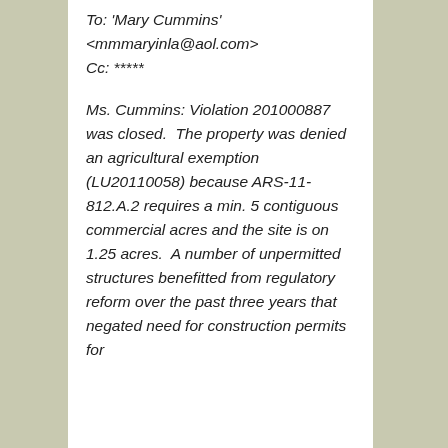To: 'Mary Cummins' <mmmaryinla@aol.com>
Cc: *****

Ms. Cummins: Violation 201000887 was closed.  The property was denied an agricultural exemption (LU20110058) because ARS-11-812.A.2 requires a min. 5 contiguous commercial acres and the site is on 1.25 acres.  A number of unpermitted structures benefitted from regulatory reform over the past three years that negated need for construction permits for